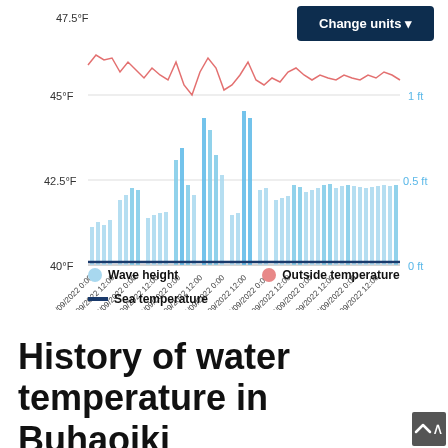[Figure (continuous-plot): Combined chart showing Wave height (light blue bars), Outside temperature (pink/red line), and Sea temperature (dark blue line) over dates from 01/09/2022 to 07/09/2022. Left Y-axis shows temperature in °F (40°F to 47.5°F), right Y-axis shows wave height in ft (0 ft to 1 ft). X-axis shows dates with 0:00 and 12:00 intervals.]
Wave height   Outside temperature   Sea temperature
History of water temperature in Buhaojki